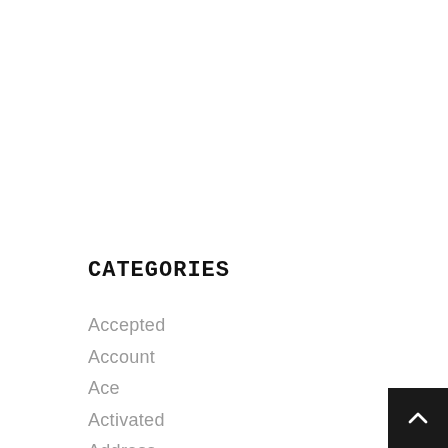CATEGORIES
Accepted
Account
Ace
Activated
Address
Affirm
[Figure (other): Back to top button with upward chevron arrow, dark background]